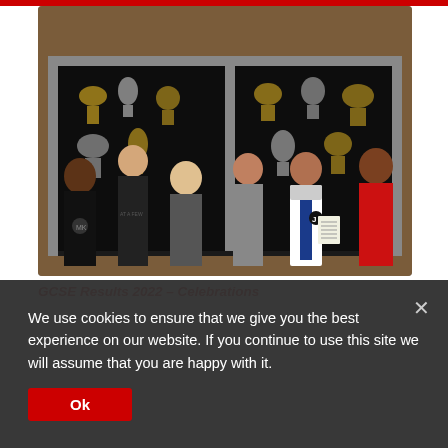[Figure (photo): Group photo of six male students standing in front of a trophy cabinet inside a school, celebrating GCSE results 2022. Students are dressed casually; one holds a paper with results.]
GCSE Results 2022 – Celebrations
We use cookies to ensure that we give you the best experience on our website. If you continue to use this site we will assume that you are happy with it.